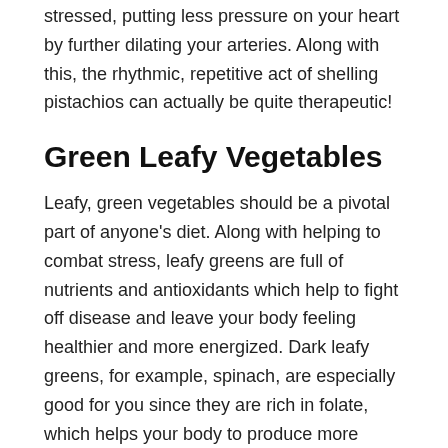stressed, putting less pressure on your heart by further dilating your arteries. Along with this, the rhythmic, repetitive act of shelling pistachios can actually be quite therapeutic!
Green Leafy Vegetables
Leafy, green vegetables should be a pivotal part of anyone's diet. Along with helping to combat stress, leafy greens are full of nutrients and antioxidants which help to fight off disease and leave your body feeling healthier and more energized. Dark leafy greens, for example, spinach, are especially good for you since they are rich in folate, which helps your body to produce more mood-regulating neurotransmitters such as serotonin, which is a ‘feel-good’ chemical. Making leafy greens a part of your diet will help you to feel happier and less stressed out overall.
Fermented foods
Last but not least, eating fermented foods such as yogurt can